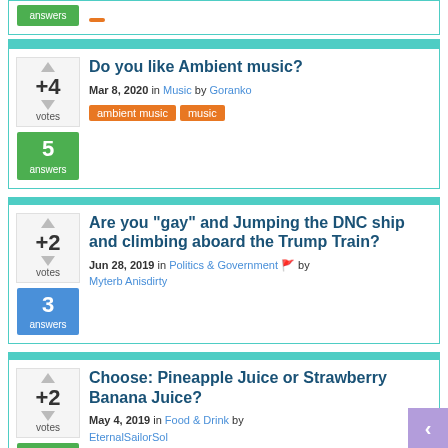answers (partial, top of page)
Do you like Ambient music? | +4 votes | 5 answers | Mar 8, 2020 in Music by Goranko | tags: ambient music, music
Are you "gay" and Jumping the DNC ship and climbing aboard the Trump Train? | +2 votes | 3 answers | Jun 28, 2019 in Politics & Government by Myterb Anisdirty
Choose: Pineapple Juice or Strawberry Banana Juice? | +2 votes | 2 answers | May 4, 2019 in Food & Drink by EternalSailorSol